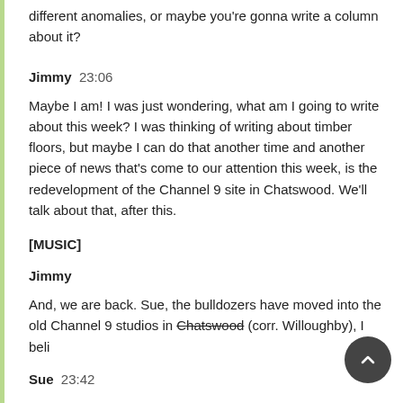different anomalies, or maybe you're gonna write a column about it?
Jimmy  23:06
Maybe I am!  I was just wondering, what am I going to write about this week? I was thinking of writing about timber floors, but maybe I can do that another time and another piece of news that's come to our attention this week, is the redevelopment of the Channel 9 site in Chatswood. We'll talk about that, after this.
[MUSIC]
Jimmy
And, we are back. Sue, the bulldozers have moved into the old Channel 9 studios in Chatswood (corr. Willoughby), I beli
Sue  23:42